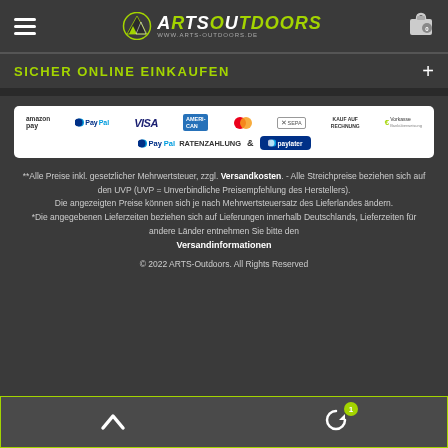ARTS OUTDOORS www.arts-outdoors.de
SICHER ONLINE EINKAUFEN
[Figure (logo): Payment method logos: amazon pay, PayPal, VISA, American Express, Mastercard, SEPA, KAUF AUF RECHNUNG, Vorkasse, PayPal RATENZAHLUNG & paylater]
**Alle Preise inkl. gesetzlicher Mehrwertsteuer, zzgl. Versandkosten. - Alle Streichpreise beziehen sich auf den UVP (UVP = Unverbindliche Preisempfehlung des Herstellers). Die angezeigten Preise können sich je nach Mehrwertsteuersatz des Lieferlandes ändern. *Die angegebenen Lieferzeiten beziehen sich auf Lieferungen innerhalb Deutschlands, Lieferzeiten für andere Länder entnehmen Sie bitte den Versandinformationen
© 2022 ARTS-Outdoors. All Rights Reserved